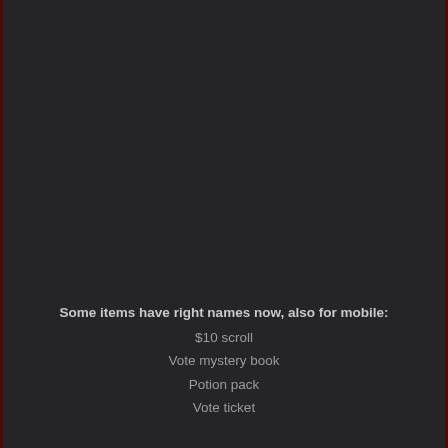Some items have right names now, also for mobile:
$10 scroll
Vote mystery book
Potion pack
Vote ticket